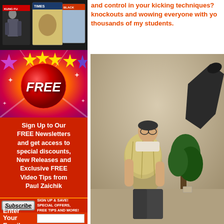and control in your kicking techniques? knockouts and wowing everyone with yo thousands of my students.
[Figure (photo): Stack of martial arts magazine covers]
[Figure (illustration): Colorful FREE promotional banner with red ball, stars, and sparkles]
Sign Up to Our FREE Newsletters and get access to special discounts, New Releases and Exclusive FREE Video Tips from Paul Zaichik
Subscribe SIGN UP & SAVE! SPECIAL OFFERS, FREE TIPS AND MORE!
Enter Your Email
[Figure (photo): Man holding a sandbag with another person performing a high kick in the background]